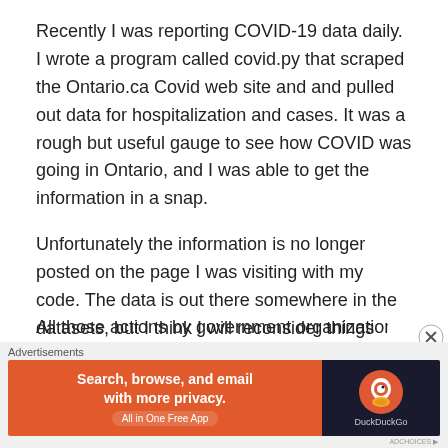Recently I was reporting COVID-19 data daily. I wrote a program called covid.py that scraped the Ontario.ca Covid web site and and pulled out data for hospitalization and cases. It was a rough but useful gauge to see how COVID was going in Ontario, and I was able to get the information in a snap.
Unfortunately the information is no longer posted on the page I was visiting with my code. The data is out there somewhere in the datasets, but I think I will reconsider things before modifying my code. It is a shame that the data is harder to get though.
All those actions by government organizations to make it
[Figure (other): DuckDuckGo advertisement banner: orange background with text 'Search, browse, and email with more privacy. All in One Free App' and DuckDuckGo logo on dark background]